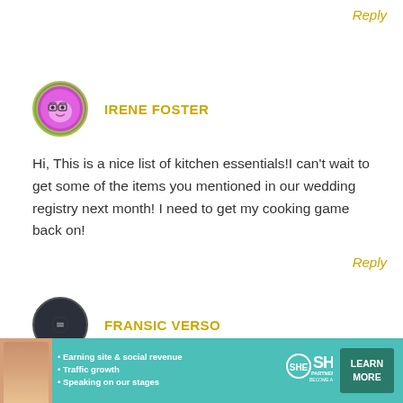Reply
IRENE FOSTER
Hi, This is a nice list of kitchen essentials!I can't wait to get some of the items you mentioned in our wedding registry next month! I need to get my cooking game back on!
Reply
FRANSIC VERSO
This is awesome and will help people who want to cook. I will keep this just in case I will need it. Thank you for sharing!
[Figure (infographic): SHE Partner Network advertisement banner with photo of woman, bullet points about earning site & social revenue, traffic growth, speaking on stages, SHE logo, and LEARN MORE button]